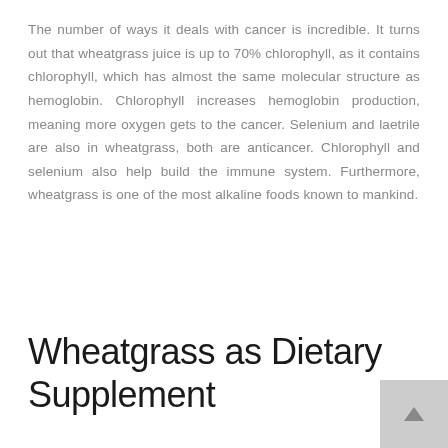The number of ways it deals with cancer is incredible. It turns out that wheatgrass juice is up to 70% chlorophyll, as it contains chlorophyll, which has almost the same molecular structure as hemoglobin. Chlorophyll increases hemoglobin production, meaning more oxygen gets to the cancer. Selenium and laetrile are also in wheatgrass, both are anticancer. Chlorophyll and selenium also help build the immune system. Furthermore, wheatgrass is one of the most alkaline foods known to mankind.
Wheatgrass as Dietary Supplement